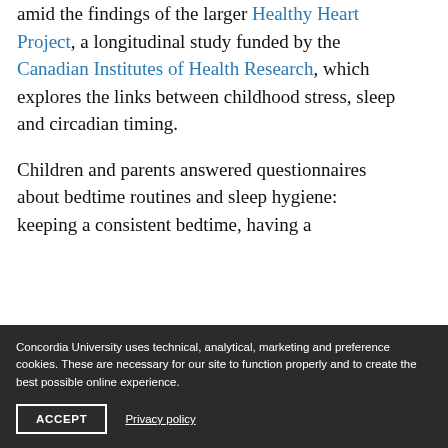amid the findings of the larger Healthy Heart Project, a longitudinal study funded by the Canadian Institutes of Health Research, which explores the links between childhood stress, sleep and circadian timing.
Children and parents answered questionnaires about bedtime routines and sleep hygiene: keeping a consistent bedtime, having a
Concordia University uses technical, analytical, marketing and preference cookies. These are necessary for our site to function properly and to create the best possible online experience.
ACCEPT
Privacy policy